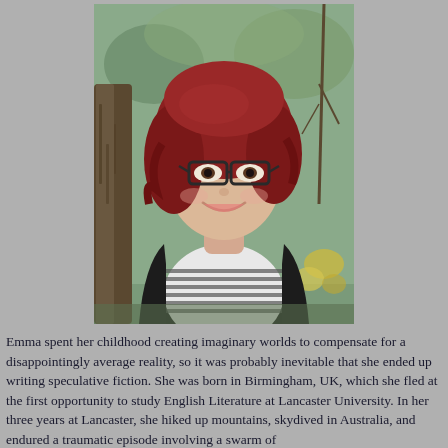[Figure (photo): Portrait photo of a young woman with red wavy hair and glasses, wearing a black cardigan over a striped top, leaning against a tree in a woodland setting with green and yellow foliage in the background.]
Emma spent her childhood creating imaginary worlds to compensate for a disappointingly average reality, so it was probably inevitable that she ended up writing speculative fiction. She was born in Birmingham, UK, which she fled at the first opportunity to study English Literature at Lancaster University. In her three years at Lancaster, she hiked up mountains, skydived in Australia, and endured a traumatic episode involving a swarm of